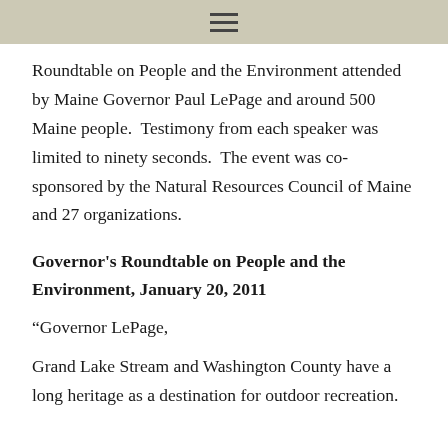≡
Roundtable on People and the Environment attended by Maine Governor Paul LePage and around 500 Maine people.  Testimony from each speaker was limited to ninety seconds.  The event was co-sponsored by the Natural Resources Council of Maine and 27 organizations.
Governor's Roundtable on People and the Environment, January 20, 2011
“Governor LePage,
Grand Lake Stream and Washington County have a long heritage as a destination for outdoor recreation.